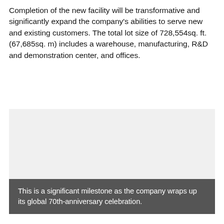Completion of the new facility will be transformative and significantly expand the company's abilities to serve new and existing customers. The total lot size of 728,554sq. ft. (67,685sq. m) includes a warehouse, manufacturing, R&D and demonstration center, and offices.
[Figure (photo): Large light gray placeholder image representing a photo of the new facility.]
This is a significant milestone as the company wraps up its global 70th-anniversary celebration.